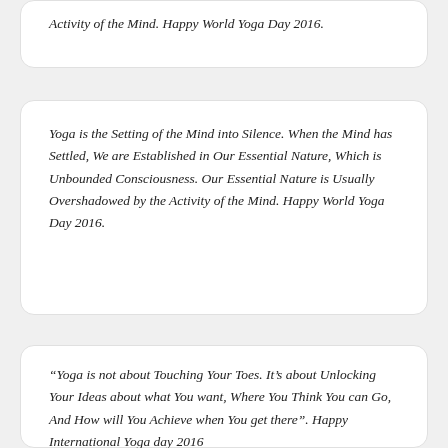Activity of the Mind. Happy World Yoga Day 2016.
Yoga is the Setting of the Mind into Silence. When the Mind has Settled, We are Established in Our Essential Nature, Which is Unbounded Consciousness. Our Essential Nature is Usually Overshadowed by the Activity of the Mind. Happy World Yoga Day 2016.
“Yoga is not about Touching Your Toes. It’s about Unlocking Your Ideas about what You want, Where You Think You can Go, And How will You Achieve when You get there”. Happy International Yoga day 2016